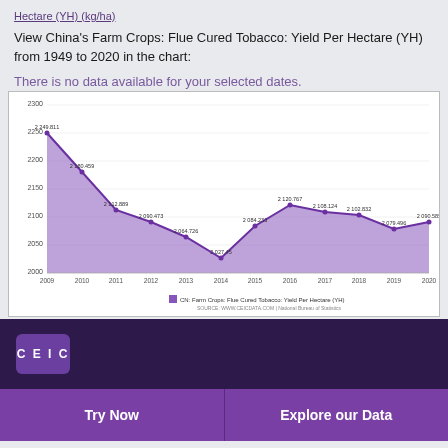Hectare (YH) (kg/ha)
View China's Farm Crops: Flue Cured Tobacco: Yield Per Hectare (YH) from 1949 to 2020 in the chart:
There is no data available for your selected dates.
[Figure (line-chart): CN: Farm Crops: Flue Cured Tobacco: Yield Per Hectare (YH)]
[Figure (logo): CEIC logo]
Try Now
Explore our Data